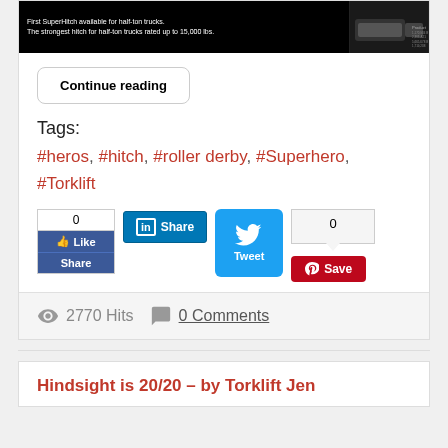[Figure (photo): Dark image strip showing truck hitch with white text: 'First SuperHitch available for half-ton trucks. The strongest hitch for half-ton trucks rated up to 15,000 lbs.']
Continue reading
Tags:
#heros, #hitch, #roller derby, #Superhero, #Torklift
[Figure (infographic): Social sharing buttons: Facebook Like/Share widget showing 0 likes, LinkedIn Share button, Twitter Tweet button, Pinterest Save button with 0 count]
2770 Hits   0 Comments
Hindsight is 20/20 – by Torklift Jen